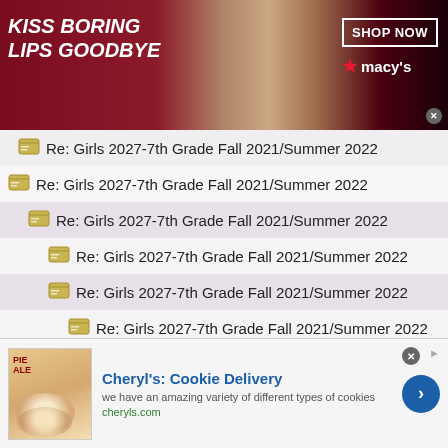[Figure (screenshot): Macy's advertisement banner: 'KISS BORING LIPS GOODBYE' with woman's face and red lips, SHOP NOW button and Macy's logo with star]
Re: Girls 2027-7th Grade Fall 2021/Summer 2022
Re: Girls 2027-7th Grade Fall 2021/Summer 2022
Re: Girls 2027-7th Grade Fall 2021/Summer 2022
Re: Girls 2027-7th Grade Fall 2021/Summer 2022
Re: Girls 2027-7th Grade Fall 2021/Summer 2022
Re: Girls 2027-7th Grade Fall 2021/Summer 2022
Re: Girls 2027-7th Grade Fall 2021/Summer 2022
Re: Girls 2027-7th Grade Fall 2021/Summer 2022
Re: Girls 2027-7th Grade Fall 2021/Summer 2022
Re: Girls 2027-7th Grade Fall 2021/Summer 2022
Re: Girls 2027-7th Grade Fall 2021/Summer 2022
[Figure (screenshot): Cheryl's Cookie Delivery advertisement with cookie image, tagline 'we have an amazing variety of different types of cookies', cheryls.com URL, and blue arrow button]